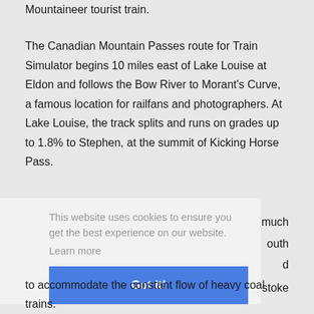Mountaineer tourist train.

The Canadian Mountain Passes route for Train Simulator begins 10 miles east of Lake Louise at Eldon and follows the Bow River to Morant's Curve, a famous location for railfans and photographers. At Lake Louise, the track splits and runs on grades up to 1.8% to Stephen, at the summit of Kicking Horse Pass.
This website uses cookies to ensure you get the best experience on our website.
Learn more
Got it!
much
outh
d
stoke
to accommodate the constant flow of heavy coal trains.